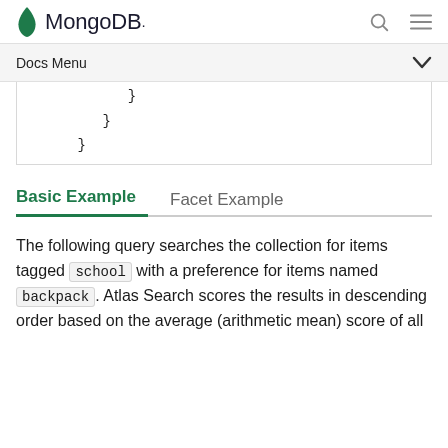MongoDB  [search icon] [menu icon]
Docs Menu
}
    }
  }
Basic Example   Facet Example
The following query searches the collection for items tagged school with a preference for items named backpack. Atlas Search scores the results in descending order based on the average (arithmetic mean) score of all